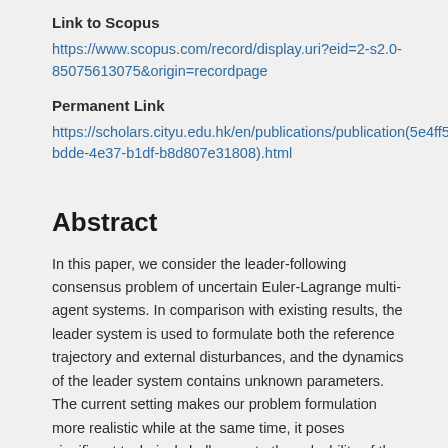Link to Scopus
https://www.scopus.com/record/display.uri?eid=2-s2.0-85075613075&origin=recordpage
Permanent Link
https://scholars.cityu.edu.hk/en/publications/publication(5e4ff565-bdde-4e37-b1df-b8d807e31808).html
Abstract
In this paper, we consider the leader-following consensus problem of uncertain Euler-Lagrange multi-agent systems. In comparison with existing results, the leader system is used to formulate both the reference trajectory and external disturbances, and the dynamics of the leader system contains unknown parameters. The current setting makes our problem formulation more realistic while at the same time, it poses significant technical challenges to the solvability of the problem. Inspired by the robust control approach and the adaptive control approach, we propose a novel adaptive distributed control law. It is shown that by